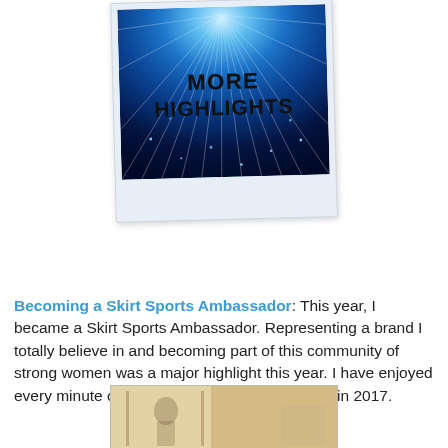[Figure (photo): A polaroid-style photo with a blue starburst / light rays background and the text 'MORE HIGHLIGHTS' in bold capital letters in the center]
Becoming a Skirt Sports Ambassador: This year, I became a Skirt Sports Ambassador. Representing a brand I totally believe in and becoming part of this community of strong women was a major highlight this year. I have enjoyed every minute of it, and I hope they keep me on in 2017.
[Figure (photo): Bottom edge of a photograph, partially cropped, showing a warm-toned indoor scene]